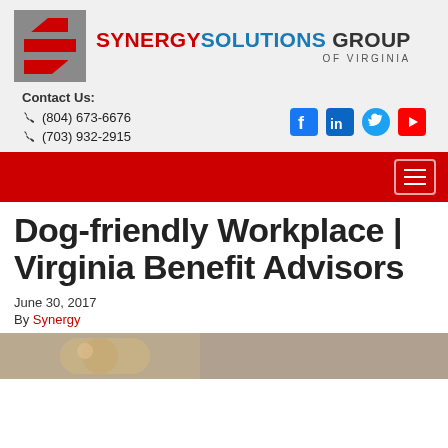[Figure (logo): Synergy Solutions Group of Virginia logo with stylized S mark in red and gray, company name in red/blue/black text]
Contact Us:
☎ (804) 673-6676
☎ (703) 932-2915
[Figure (infographic): Social media icons: Facebook, LinkedIn, Twitter, YouTube in blue and red colors]
[Figure (other): Red navigation bar with hamburger menu icon]
Dog-friendly Workplace | Virginia Benefit Advisors
June 30, 2017
By Synergy
[Figure (photo): Partial photo at bottom, appears to show a dog or animal, cropped]